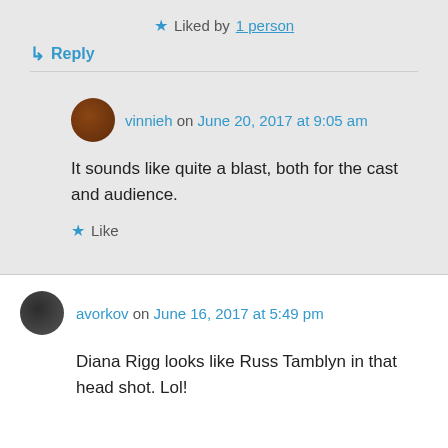★ Liked by 1 person
↳ Reply
vinnieh on June 20, 2017 at 9:05 am
It sounds like quite a blast, both for the cast and audience.
★ Like
avorkov on June 16, 2017 at 5:49 pm
Diana Rigg looks like Russ Tamblyn in that head shot. Lol!